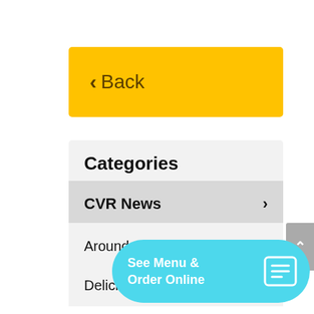< Back
Categories
CVR News
Around the Seacoast
Delicious Recipes
[Figure (screenshot): See Menu & Order Online button with cyan background and menu icon]